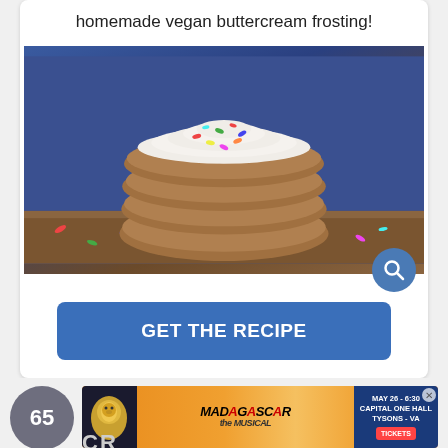homemade vegan buttercream frosting!
[Figure (photo): Stack of four oatmeal cookies sandwiched with white buttercream frosting and colorful sprinkles on a blue background]
GET THE RECIPE
[Figure (infographic): Circle badge with number 65 and an advertisement banner for Madagascar The Musical, MAY 26 - 6:30, Capital One Hall, Tysons - VA, Tickets]